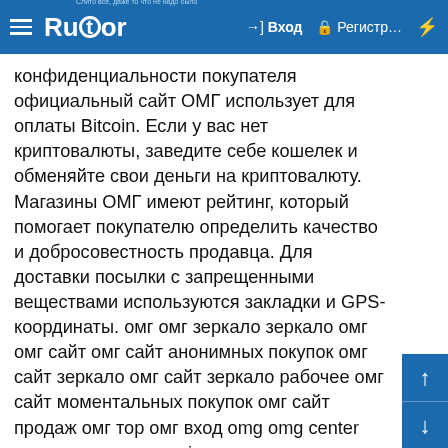Rutor — Вход — Регистр...
конфиденциальности покупателя официальный сайт ОМГ использует для оплаты Bitcoin. Если у вас нет криптовалюты, заведите себе кошелек и обменяйте свои деньги на криптовалюту. Магазины ОМГ имеют рейтинг, который помогает покупателю определить качество и добросовестность продавца. Для доставки посылки с запрещенными веществами используются закладки и GPS-координаты. омг омг зеркало зеркало омг омг сайт омг сайт анонимных покупок омг сайт зеркало омг сайт зеркало рабочее омг сайт моментальных покупок омг сайт продаж омг тор омг вход omg omg center omg зеркало omg onion omg вход omg зеркала зеркала омг зеркала гидры зеркало omg зеркало омг зеркало гидры магазин омг омг онион omg2web omg обход блокировки омг обход блокировки омг магазин omg shop омг официальный сайт omg официальный сайт омг правильная ссылка omg правильная ссылка как зайти rampmarketplace на омг как зайти на omg настоящий сайт гидры настоящий сайт omg как зайти на гидру через тор ссылка на omg ссылка на омг омг ссылка omg ссылка